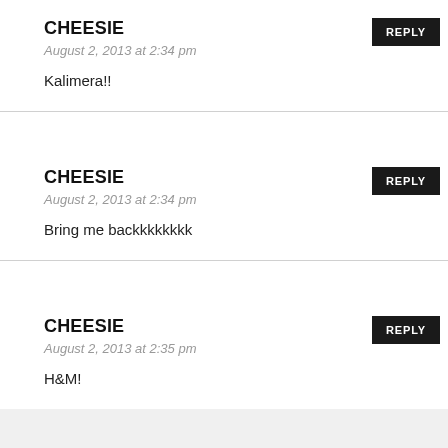CHEESIE
August 2, 2013 at 2:34 pm
Kalimera!!
CHEESIE
August 2, 2013 at 2:34 pm
Bring me backkkkkkkk
CHEESIE
August 2, 2013 at 2:35 pm
H&M!